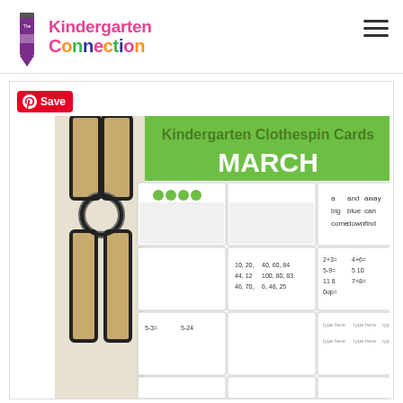[Figure (logo): The Kindergarten Connection logo with colorful crayon and text]
[Figure (screenshot): Kindergarten Clothespin Cards March - product preview image showing clothespin card sets with shamrocks, sight words, number cards for March/St. Patrick's Day theme]